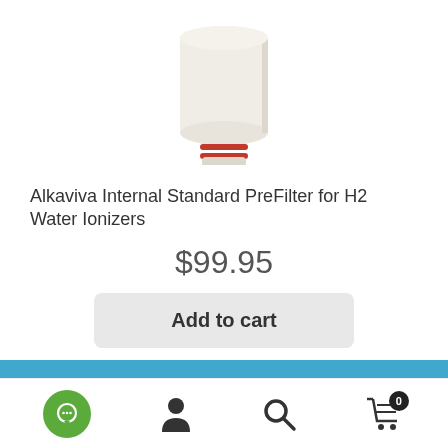[Figure (photo): Product photo of Alkaviva Internal Standard PreFilter — a white cylindrical filter cartridge with red-banded threaded connector base, shown against white background.]
Alkaviva Internal Standard PreFilter for H2 Water Ionizers
$99.95
Add to cart
ℹ Lead times may be extended based on global supply chain volatility. Please confirm availability prior to placing your order.
Dismiss